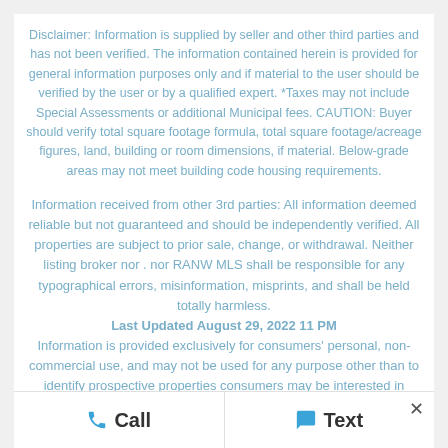Disclaimer: Information is supplied by seller and other third parties and has not been verified. The information contained herein is provided for general information purposes only and if material to the user should be verified by the user or by a qualified expert. *Taxes may not include Special Assessments or additional Municipal fees. CAUTION: Buyer should verify total square footage formula, total square footage/acreage figures, land, building or room dimensions, if material. Below-grade areas may not meet building code housing requirements.
Information received from other 3rd parties: All information deemed reliable but not guaranteed and should be independently verified. All properties are subject to prior sale, change, or withdrawal. Neither listing broker nor . nor RANW MLS shall be responsible for any typographical errors, misinformation, misprints, and shall be held totally harmless.
Last Updated August 29, 2022 11 PM
Information is provided exclusively for consumers' personal, non-commercial use, and may not be used for any purpose other than to identify prospective properties consumers may be interested in purchasing.
Call   Text